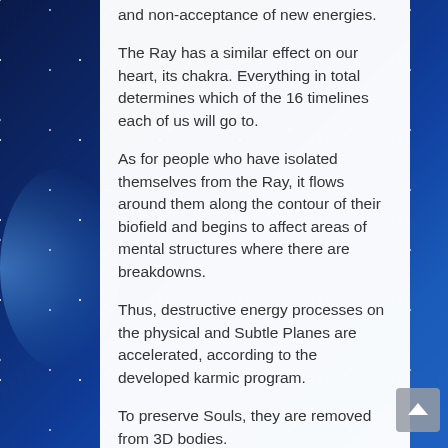and non-acceptance of new energies.
The Ray has a similar effect on our heart, its chakra. Everything in total determines which of the 16 timelines each of us will go to.
As for people who have isolated themselves from the Ray, it flows around them along the contour of their biofield and begins to affect areas of mental structures where there are breakdowns.
Thus, destructive energy processes on the physical and Subtle Planes are accelerated, according to the developed karmic program.
To preserve Souls, they are removed from 3D bodies.
Each of us now consciously chooses accelerated delivery of karmic lessons.